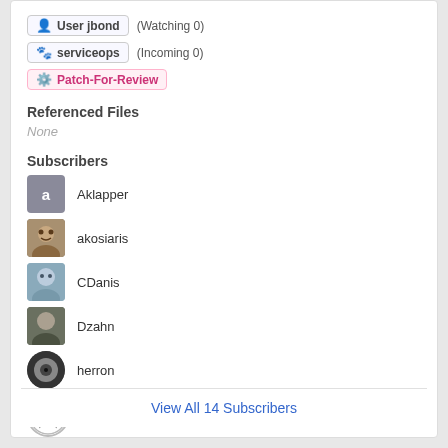User jbond (Watching 0)
serviceops (Incoming 0)
Patch-For-Review
Referenced Files
None
Subscribers
Aklapper
akosiaris
CDanis
Dzahn
herron
jbond
jcrespo
View All 14 Subscribers